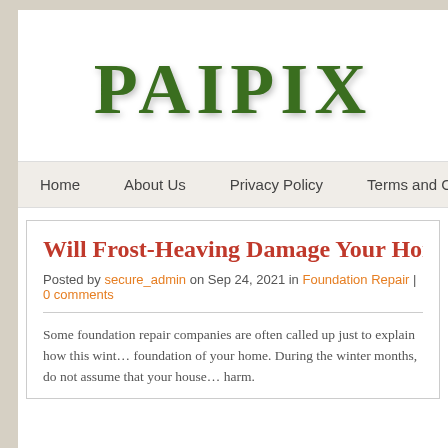PAIPIX
Home | About Us | Privacy Policy | Terms and Conditions
Will Frost-Heaving Damage Your Home…
Posted by secure_admin on Sep 24, 2021 in Foundation Repair | 0 comments
Some foundation repair companies are often called up just to explain how this winter can affect the foundation of your home. During the winter months, do not assume that your house is safe from harm.